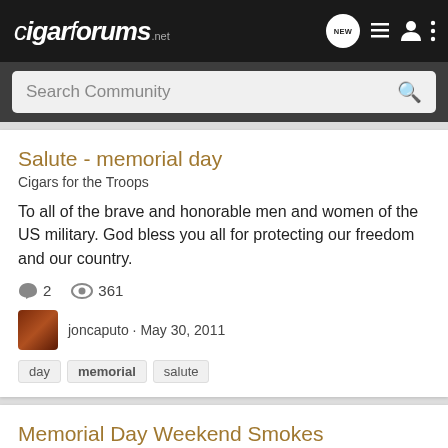cigarforums.net
Search Community
Salute - memorial day
Cigars for the Troops
To all of the brave and honorable men and women of the US military. God bless you all for protecting our freedom and our country.
2 comments · 361 views
joncaputo · May 30, 2011
day  memorial  salute
Memorial Day Weekend Smokes
Habanos Discussion
First and foremost, let me thank all the veterans on Puff for